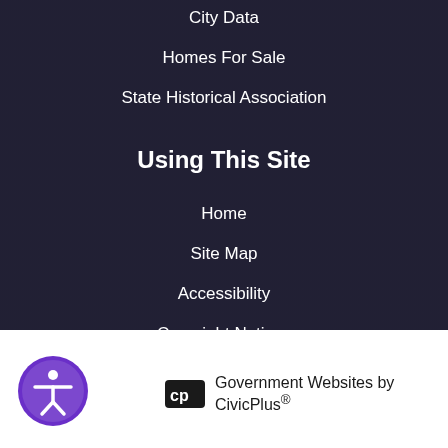City Data
Homes For Sale
State Historical Association
Using This Site
Home
Site Map
Accessibility
Copyright Notices
Government Websites by CivicPlus®
[Figure (logo): CivicPlus logo icon (cp letters in white on dark background) and accessibility circular button with person icon in purple]